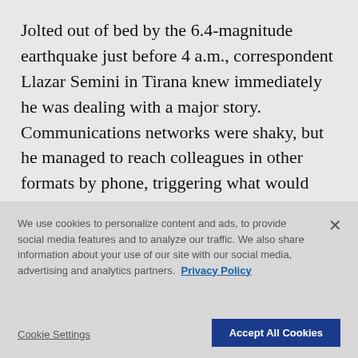Jolted out of bed by the 6.4-magnitude earthquake just before 4 a.m., correspondent Llazar Semini in Tirana knew immediately he was dealing with a major story. Communications networks were shaky, but he managed to reach colleagues in other formats by phone, triggering what would become a virtual sweep of the disaster coverage.
The quick decisions made in the early
We use cookies to personalize content and ads, to provide social media features and to analyze our traffic. We also share information about your use of our site with our social media, advertising and analytics partners. Privacy Policy